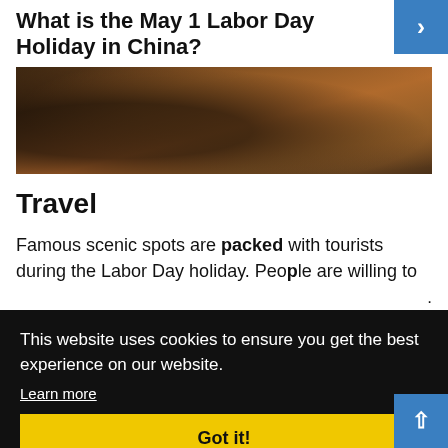What is the May 1 Labor Day Holiday in China?
[Figure (photo): Dark indoor photo showing a person holding an object, with warm wooden tones in background]
Travel
Famous scenic spots are packed with tourists during the Labor Day holiday. People are willing to queue for one or two hours just to take some photos. ...in ...n ...ry
This website uses cookies to ensure you get the best experience on our website. Learn more Got it!
days, many people choose to visit tourist sites